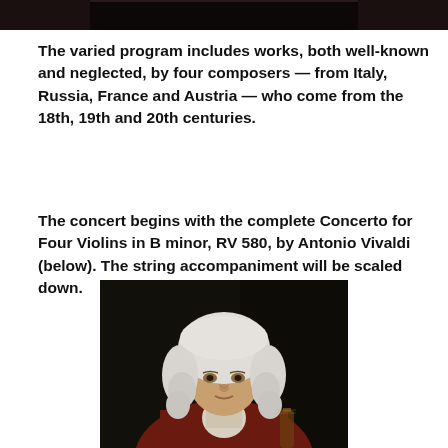[Figure (photo): Cropped top portion of a photo, likely musicians or performers on a dark stage]
The varied program includes works, both well-known and neglected, by four composers — from Italy, Russia, France and Austria — who come from the 18th, 19th and 20th centuries.
The concert begins with the complete Concerto for Four Violins in B minor, RV 580, by Antonio Vivaldi (below). The string accompaniment will be scaled down.
[Figure (photo): Portrait painting of Antonio Vivaldi, shown from shoulders up, wearing a white powdered wig and red coat, holding a violin]